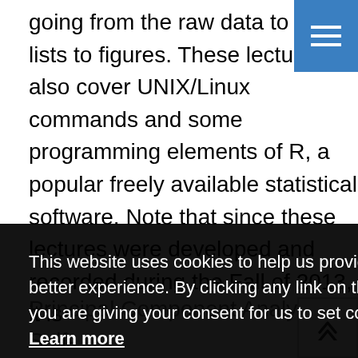going from the raw data to gene lists to figures. These lectures also cover UNIX/Linux commands and some programming elements of R, a popular freely available statistical software. Note that since these lectures were developed and recorded during the Fall of 2013, it is
[Figure (screenshot): Blue hamburger menu button in top right corner]
This website uses cookies to help us provide you a better experience. By clicking any link on this page you are giving your consent for us to set cookies. Learn more
Got it!
Principal Component Analysis, Self-